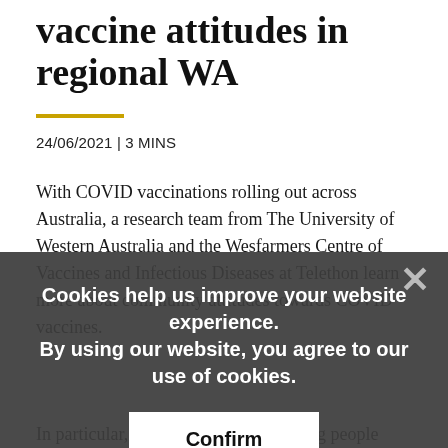vaccine attitudes in regional WA
24/06/2021 | 3 MINS
With COVID vaccinations rolling out across Australia, a research team from The University of Western Australia and the Wesfarmers Centre of Vaccines and Infectious Diseases at Telethon learn more about community attitudes towards COVID vaccines.
[Figure (screenshot): Cookie consent overlay banner with dark semi-transparent background. Text reads: 'Cookies help us improve your website experience. By using our website, you agree to our use of cookies.' A white 'Confirm' button is shown at the bottom of the overlay. An X close button is in the top right.]
In particular, the researchers are seeking people